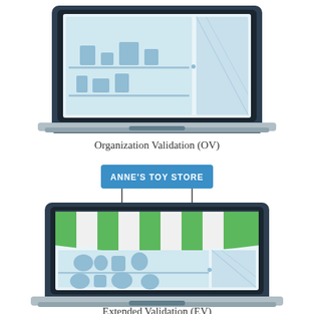[Figure (illustration): Illustration of a laptop computer showing a store/shop website with shelves and products displayed on screen - Organization Validation (OV) concept]
Organization Validation (OV)
[Figure (illustration): Illustration of a laptop computer showing a toy store website with green and white striped awning, 'ANNE'S TOY STORE' sign/badge above, and toy products on shelves - Extended Validation (EV) concept]
Extended Validation (EV)